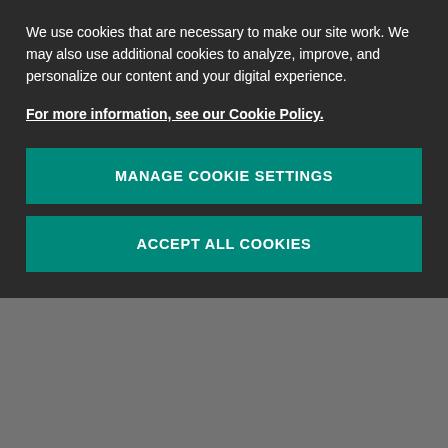We use cookies that are necessary to make our site work. We may also use additional cookies to analyze, improve, and personalize our content and your digital experience.
For more information, see our Cookie Policy.
MANAGE COOKIE SETTINGS
ACCEPT ALL COOKIES
origin to the destination, including up to five connection points. Results are broken down by airline to show the dominant airline for the itinerary and the marketing airline for each leg. Values shown include total traffic passenger estimates and market share of those passengers, average fare and revenue.
When using this report specify the airports and travel month, to display industry traffic levels by origin and destination. The report can return data in per day or per period (month...